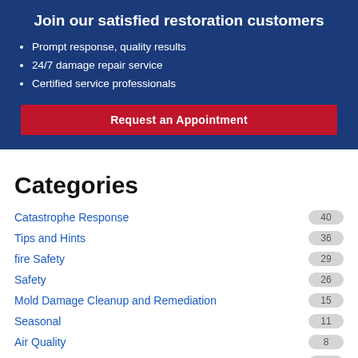Join our satisfied restoration customers
Prompt response, quality results
24/7 damage repair service
Certified service professionals
Request an Appointment
Categories
Catastrophe Response 40
Tips and Hints 36
fire Safety 29
Safety 26
Mold Damage Cleanup and Remediation 15
Seasonal 11
Air Quality 8
Uncategorized 6
Plumbing 5